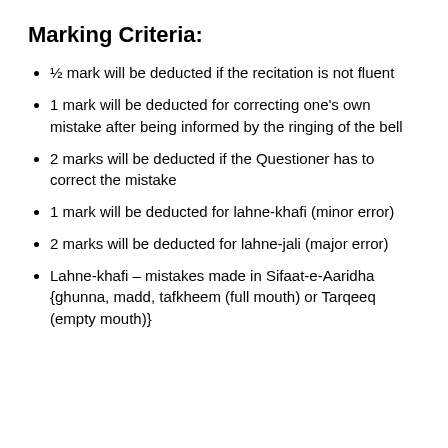Marking Criteria:
½ mark will be deducted if the recitation is not fluent
1 mark will be deducted for correcting one's own mistake after being informed by the ringing of the bell
2 marks will be deducted if the Questioner has to correct the mistake
1 mark will be deducted for lahne-khafi (minor error)
2 marks will be deducted for lahne-jali (major error)
Lahne-khafi – mistakes made in Sifaat-e-Aaridha {ghunna, madd, tafkheem (full mouth) or Tarqeeq (empty mouth)}